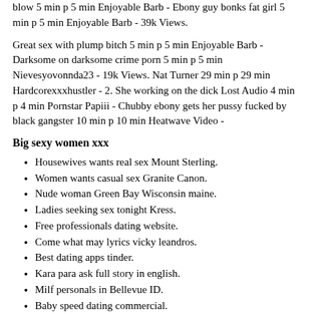blow 5 min p 5 min Enjoyable Barb - Ebony guy bonks fat girl 5 min p 5 min Enjoyable Barb - 39k Views.
Great sex with plump bitch 5 min p 5 min Enjoyable Barb - Darksome on darksome crime porn 5 min p 5 min Nievesyovonnda23 - 19k Views. Nat Turner 29 min p 29 min Hardcorexxxhustler - 2. She working on the dick Lost Audio 4 min p 4 min Pornstar Papiii - Chubby ebony gets her pussy fucked by black gangster 10 min p 10 min Heatwave Video -
Big sexy women xxx
Housewives wants real sex Mount Sterling.
Women wants casual sex Granite Canon.
Nude woman Green Bay Wisconsin maine.
Ladies seeking sex tonight Kress.
Free professionals dating website.
Come what may lyrics vicky leandros.
Best dating apps tinder.
Kara para ask full story in english.
Milf personals in Bellevue ID.
Baby speed dating commercial.
Albania online dating.
Beautiful couples wants love DC.
Dating services rated.
What drugs are opiate based.